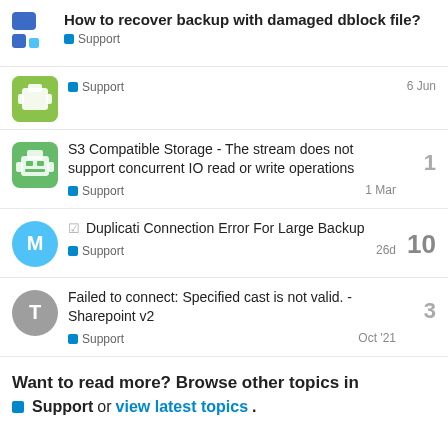How to recover backup with damaged dblock file? | Support
Support | 6 Jun
S3 Compatible Storage - The stream does not support concurrent IO read or write operations | Support | 1 Mar | 1 reply
✓ Duplicati Connection Error For Large Backup | Support | 26d | 10 replies
Failed to connect: Specified cast is not valid. - Sharepoint v2 | Support | Oct '21 | 3 replies
Want to read more? Browse other topics in Support or view latest topics.